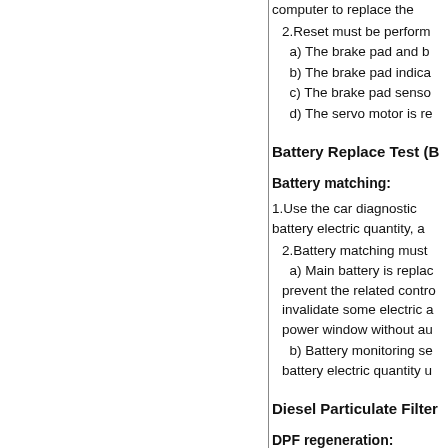computer to replace the
2.Reset must be perform
a) The brake pad and b
b) The brake pad indica
c) The brake pad senso
d) The servo motor is re
Battery Replace Test (B
Battery matching:
1.Use the car diagnostic battery electric quantity, a
2.Battery matching must
a) Main battery is replac prevent the related contro invalidate some electric a power window without au
b) Battery monitoring se battery electric quantity u
Diesel Particulate Filter
DPF regeneration:
1.DPF regeneration is us